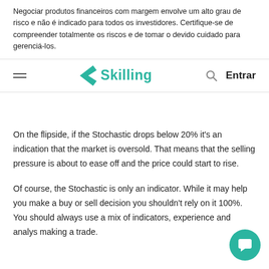Negociar produtos financeiros com margem envolve um alto grau de risco e não é indicado para todos os investidores. Certifique-se de compreender totalmente os riscos e de tomar o devido cuidado para gerenciá-los.
[Figure (logo): Skilling logo with teal S icon and 'Skilling' wordmark, hamburger menu icon on left, search icon and 'Entrar' login button on right]
On the flipside, if the Stochastic drops below 20% it's an indication that the market is oversold. That means that the selling pressure is about to ease off and the price could start to rise.
Of course, the Stochastic is only an indicator. While it may help you make a buy or sell decision you shouldn't rely on it 100%. You should always use a mix of indicators, experience and analys... making a trade.